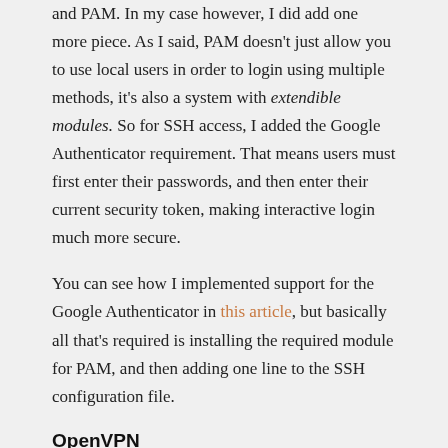and PAM. In my case however, I did add one more piece. As I said, PAM doesn't just allow you to use local users in order to login using multiple methods, it's also a system with extendible modules. So for SSH access, I added the Google Authenticator requirement. That means users must first enter their passwords, and then enter their current security token, making interactive login much more secure.
You can see how I implemented support for the Google Authenticator in this article, but basically all that's required is installing the required module for PAM, and then adding one line to the SSH configuration file.
OpenVPN
The OpenVPN Access Server also supports PAM out of the box. All you have to do is go to the Authentication section of the admin console, and turn it on. The module doesn't even have any